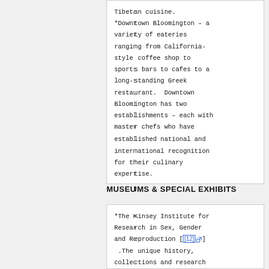Tibetan cuisine. *Downtown Bloomington – a variety of eateries ranging from California-style coffee shop to sports bars to cafes to a long-standing Greek restaurant.  Downtown Bloomington has two establishments – each with master chefs who have established national and international recognition for their culinary expertise.
MUSEUMS & SPECIAL EXHIBITS
*The Kinsey Institute for Research in Sex, Gender and Reproduction [[12]] .The unique history, collections and research of the Kinsey Institute...